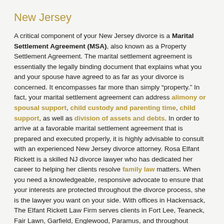New Jersey
A critical component of your New Jersey divorce is a Marital Settlement Agreement (MSA), also known as a Property Settlement Agreement. The marital settlement agreement is essentially the legally binding document that explains what you and your spouse have agreed to as far as your divorce is concerned. It encompasses far more than simply "property." In fact, your marital settlement agreement can address alimony or spousal support, child custody and parenting time, child support, as well as division of assets and debts. In order to arrive at a favorable marital settlement agreement that is prepared and executed properly, it is highly advisable to consult with an experienced New Jersey divorce attorney. Rosa Elfant Rickett is a skilled NJ divorce lawyer who has dedicated her career to helping her clients resolve family law matters. When you need a knowledgeable, responsive advocate to ensure that your interests are protected throughout the divorce process, she is the lawyer you want on your side. With offices in Hackensack, The Elfant Rickett Law Firm serves clients in Fort Lee, Teaneck, Fair Lawn, Garfield, Englewood, Paramus, and throughout Bergen County and